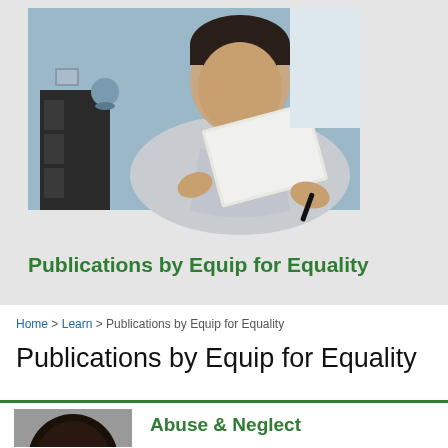[Figure (photo): Man in a light blue shirt reading documents, seated at a desk. Background shows a blue wall and black filing cabinet with binders.]
Publications by Equip for Equality
Home > Learn > Publications by Equip for Equality
Publications by Equip for Equality
[Figure (photo): Partial head/hair of a person, cropped.]
Abuse & Neglect